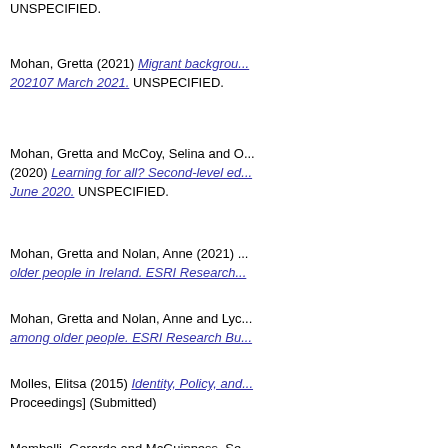UNSPECIFIED.
Mohan, Gretta (2021) Migrant background... 202107 March 2021. UNSPECIFIED.
Mohan, Gretta and McCoy, Selina and O... (2020) Learning for all? Second-level ed... June 2020. UNSPECIFIED.
Mohan, Gretta and Nolan, Anne (2021) ... older people in Ireland. ESRI Research...
Mohan, Gretta and Nolan, Anne and Lyc... among older people. ESRI Research Bu...
Molles, Elitsa (2015) Identity, Policy, and... Proceedings] (Submitted)
Mombelli, Gerardo and McGuinness, Se... IRELAND: THE ROLE OF WORKER, H... REPORT SERIES, November 2017. UN...
Morgenroth, Edgar (2008) Economic Int... [Working Paper]